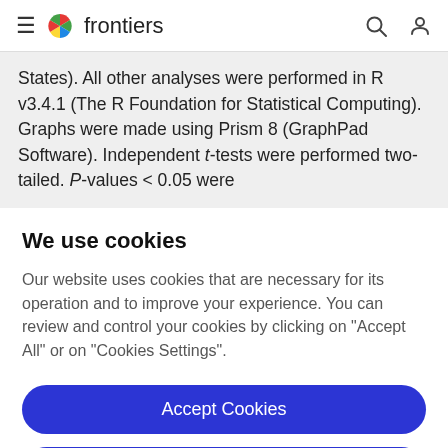frontiers
States). All other analyses were performed in R v3.4.1 (The R Foundation for Statistical Computing). Graphs were made using Prism 8 (GraphPad Software). Independent t-tests were performed two-tailed. P-values < 0.05 were
We use cookies
Our website uses cookies that are necessary for its operation and to improve your experience. You can review and control your cookies by clicking on "Accept All" or on "Cookies Settings".
Accept Cookies
Cookies Settings